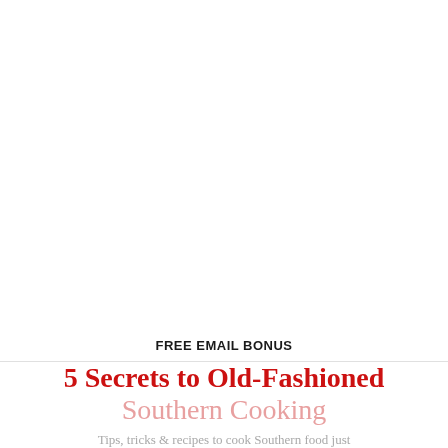FREE EMAIL BONUS
5 Secrets to Old-Fashioned Southern Cooking
Tips, tricks & recipes to cook Southern food just